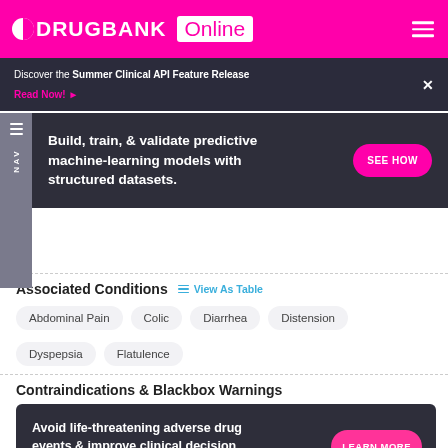DRUGBANK Online
Discover the Summer Clinical API Feature Release Read Now!
Build, train, & validate predictive machine-learning models with structured datasets.
Associated Conditions
View As Table
Abdominal Pain
Colic
Diarrhea
Distension
Dyspepsia
Flatulence
Contraindications & Blackbox Warnings
Avoid life-threatening adverse drug events & improve clinical decision support